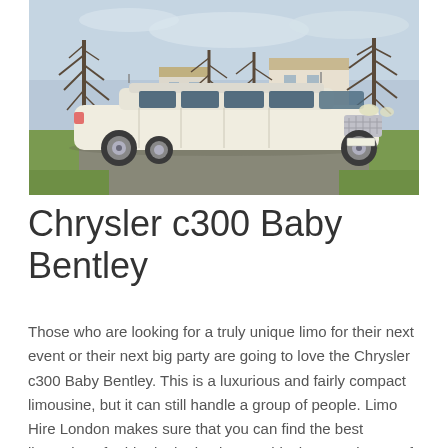[Figure (photo): A white stretch limousine (Chrysler c300 Baby Bentley) parked on a road with bare trees and a white house in the background.]
Chrysler c300 Baby Bentley
Those who are looking for a truly unique limo for their next event or their next big party are going to love the Chrysler c300 Baby Bentley. This is a luxurious and fairly compact limousine, but it can still handle a group of people. Limo Hire London makes sure that you can find the best limousines for hire in the business. This the c300 is one of the most commonly requested due to how amazing